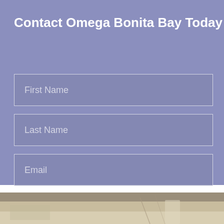Contact Omega Bonita Bay Today
First Name
Last Name
Email
Phone
SUBMIT
[Figure (photo): Bottom portion showing an architectural or interior photo with light-colored surfaces, possibly furniture or architectural elements]